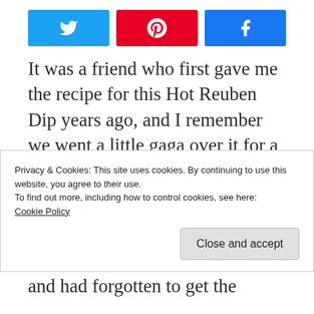[Figure (other): Social share buttons: Twitter (blue), Pinterest (red), Facebook (blue)]
It was a friend who first gave me the recipe for this Hot Reuben Dip years ago, and I remember we went a little gaga over it for a while. Then at some point, I just kinda forgot about it. Maybe spring came and Hot Reuben Dip
Privacy & Cookies: This site uses cookies. By continuing to use this website, you agree to their use.
To find out more, including how to control cookies, see here:
Cookie Policy
[Close and accept]
and had forgotten to get the